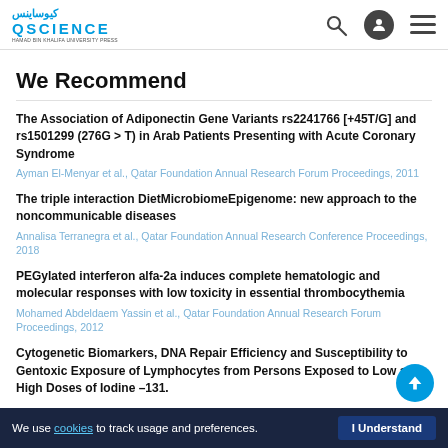QScience — Hamad Bin Khalifa University Press logo and navigation
We Recommend
The Association of Adiponectin Gene Variants rs2241766 [+45T/G] and rs1501299 (276G > T) in Arab Patients Presenting with Acute Coronary Syndrome
Ayman El-Menyar et al., Qatar Foundation Annual Research Forum Proceedings, 2011
The triple interaction DietMicrobiomeEpigenome: new approach to the noncommunicable diseases
Annalisa Terranegra et al., Qatar Foundation Annual Research Conference Proceedings, 2018
PEGylated interferon alfa-2a induces complete hematologic and molecular responses with low toxicity in essential thrombocythemia
Mohamed Abdeldaem Yassin et al., Qatar Foundation Annual Research Forum Proceedings, 2012
Cytogenetic Biomarkers, DNA Repair Efficiency and Susceptibility to Gentoxic Exposure of Lymphocytes from Persons Exposed to Low and High Doses of Iodine –131.
We use cookies to track usage and preferences. I Understand